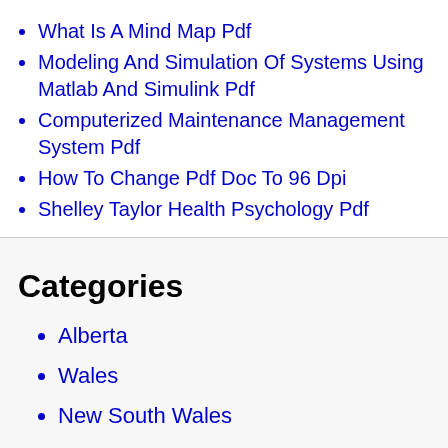What Is A Mind Map Pdf
Modeling And Simulation Of Systems Using Matlab And Simulink Pdf
Computerized Maintenance Management System Pdf
How To Change Pdf Doc To 96 Dpi
Shelley Taylor Health Psychology Pdf
Categories
Alberta
Wales
New South Wales